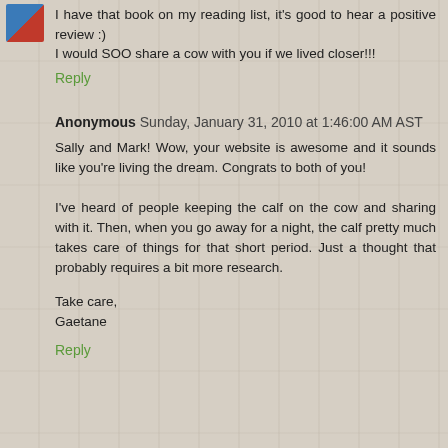I have that book on my reading list, it's good to hear a positive review :)
I would SOO share a cow with you if we lived closer!!!
Reply
Anonymous  Sunday, January 31, 2010 at 1:46:00 AM AST
Sally and Mark! Wow, your website is awesome and it sounds like you're living the dream. Congrats to both of you!
I've heard of people keeping the calf on the cow and sharing with it. Then, when you go away for a night, the calf pretty much takes care of things for that short period. Just a thought that probably requires a bit more research.
Take care,
Gaetane
Reply